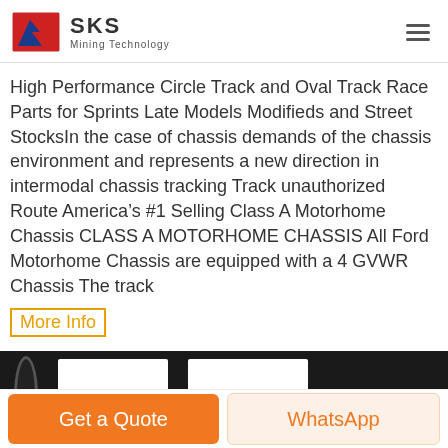SKS Mining Technology
High Performance Circle Track and Oval Track Race Parts for Sprints Late Models Modifieds and Street StocksIn the case of chassis demands of the chassis environment and represents a new direction in intermodal chassis tracking Track unauthorized Route America’s #1 Selling Class A Motorhome Chassis CLASS A MOTORHOME CHASSIS All Ford Motorhome Chassis are equipped with a 4 GVWR Chassis The track
More Info
[Figure (photo): Dark background image showing white rectangular panels/frames against a black background, partially visible]
Get a Quote
WhatsApp